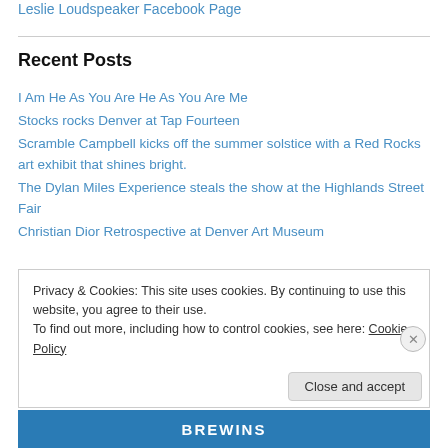Leslie Loudspeaker Facebook Page
Recent Posts
I Am He As You Are He As You Are Me
Stocks rocks Denver at Tap Fourteen
Scramble Campbell kicks off the summer solstice with a Red Rocks art exhibit that shines bright.
The Dylan Miles Experience steals the show at the Highlands Street Fair
Christian Dior Retrospective at Denver Art Museum
Privacy & Cookies: This site uses cookies. By continuing to use this website, you agree to their use.
To find out more, including how to control cookies, see here: Cookie Policy
Close and accept